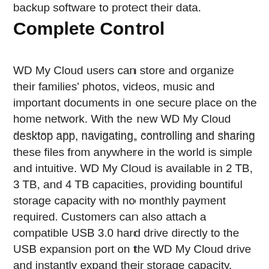backup software to protect their data.
Complete Control
WD My Cloud users can store and organize their families' photos, videos, music and important documents in one secure place on the home network. With the new WD My Cloud desktop app, navigating, controlling and sharing these files from anywhere in the world is simple and intuitive. WD My Cloud is available in 2 TB, 3 TB, and 4 TB capacities, providing bountiful storage capacity with no monthly payment required. Customers can also attach a compatible USB 3.0 hard drive directly to the USB expansion port on the WD My Cloud drive and instantly expand their storage capacity.